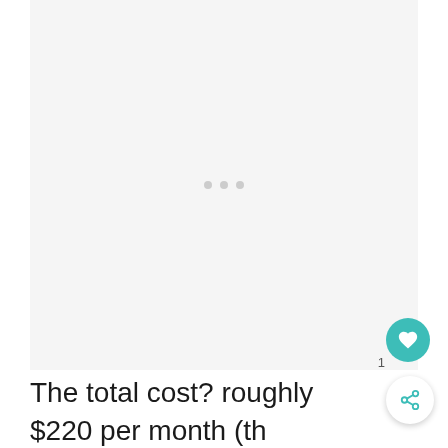[Figure (other): Advertisement placeholder area with three small grey dots in the center on a light grey background]
The total cost? roughly $220 per month (this is if you are 25 year old non smoker who worked a desk job).